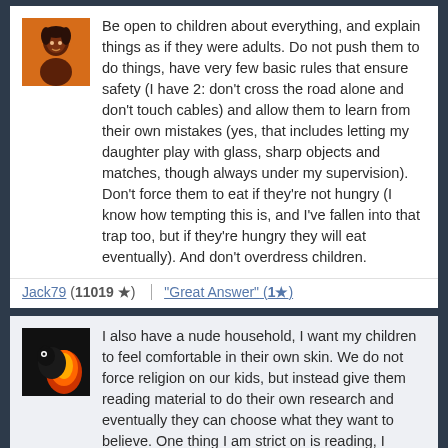[Figure (illustration): Avatar icon for user Jack79 - abstract figure on orange background]
Be open to children about everything, and explain things as if they were adults. Do not push them to do things, have very few basic rules that ensure safety (I have 2: don't cross the road alone and don't touch cables) and allow them to learn from their own mistakes (yes, that includes letting my daughter play with glass, sharp objects and matches, though always under my supervision). Don't force them to eat if they're not hungry (I know how tempting this is, and I've fallen into that trap too, but if they're hungry they will eat eventually). And don't overdress children.
Jack79 (11019 ★) "Great Answer" (1★)
[Figure (illustration): Avatar icon - dark image with orange/red element on black background]
I also have a nude household, I want my children to feel comfortable in their own skin. We do not force religion on our kids, but instead give them reading material to do their own research and eventually they can choose what they want to believe. One thing I am strict on is reading, I believe that the more you read the more you know. As a result my kids